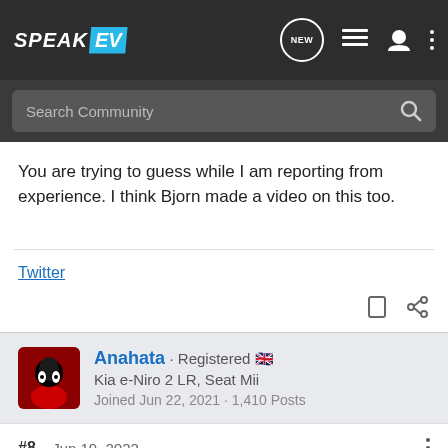SPEAK EV — Search Community
You are trying to guess while I am reporting from experience. I think Bjorn made a video on this too.
Twitter
Anahata · Registered 🇬🇧
Kia e-Niro 2 LR, Seat Mii
Joined Jun 22, 2021 · 1,410 Posts
#8 · Jun 19, 2022